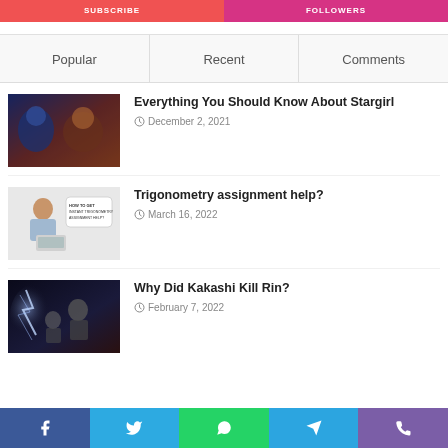[Figure (screenshot): Subscribe button (red)]
[Figure (screenshot): Followers button (pink/magenta)]
Popular
Recent
Comments
[Figure (photo): Stargirl article thumbnail showing superhero characters]
Everything You Should Know About Stargirl
December 2, 2021
[Figure (photo): Trigonometry assignment help article thumbnail showing student with laptop]
Trigonometry assignment help?
March 16, 2022
[Figure (photo): Kakashi Kill Rin article thumbnail showing anime characters]
Why Did Kakashi Kill Rin?
February 7, 2022
[Figure (infographic): Social media footer bar with Facebook, Twitter, WhatsApp, Telegram, Phone icons]